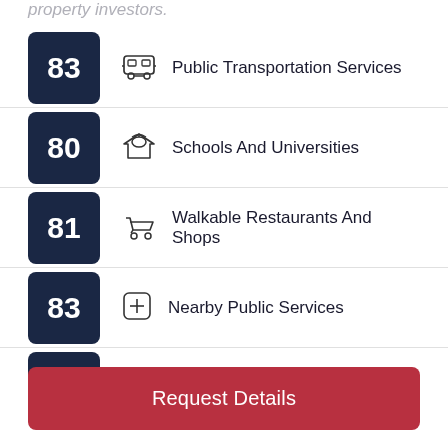property investors.
83 — Public Transportation Services
80 — Schools And Universities
81 — Walkable Restaurants And Shops
83 — Nearby Public Services
82 — Commute To Downtown
Request Details